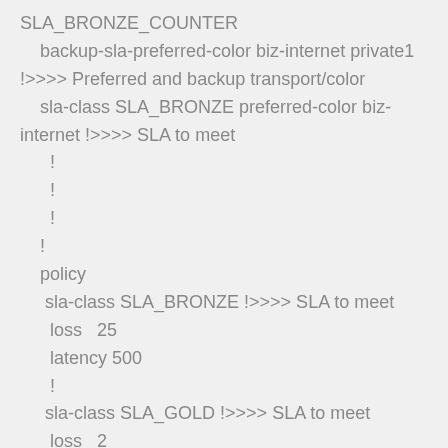SLA_BRONZE_COUNTER
    backup-sla-preferred-color biz-internet private1 !>>>> Preferred and backup transport/color
    sla-class SLA_BRONZE preferred-color biz-internet !>>>> SLA to meet
      !
      !
      !
    !
    policy
     sla-class SLA_BRONZE !>>>> SLA to meet
      loss   25
      latency 500
      !
     sla-class SLA_GOLD !>>>> SLA to meet
      loss   2